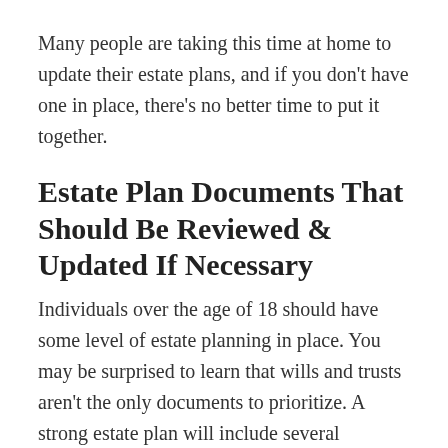Many people are taking this time at home to update their estate plans, and if you don't have one in place, there's no better time to put it together.
Estate Plan Documents That Should Be Reviewed & Updated If Necessary
Individuals over the age of 18 should have some level of estate planning in place. You may be surprised to learn that wills and trusts aren't the only documents to prioritize. A strong estate plan will include several important documents, such as a